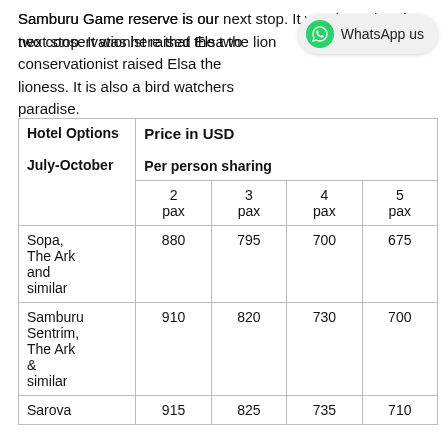Samburu Game reserve is our next stop. It was here that the two conservationist raised Elsa the lioness. It is also a bird watchers paradise.
| Hotel Options July-October | 2 pax | 3 pax | 4 pax | 5 pax |
| --- | --- | --- | --- | --- |
| Sopa, The Ark and similar | 880 | 795 | 700 | 675 |
| Samburu Sentrim, The Ark & similar | 910 | 820 | 730 | 700 |
| Sarova | 915 | 825 | 735 | 710 |